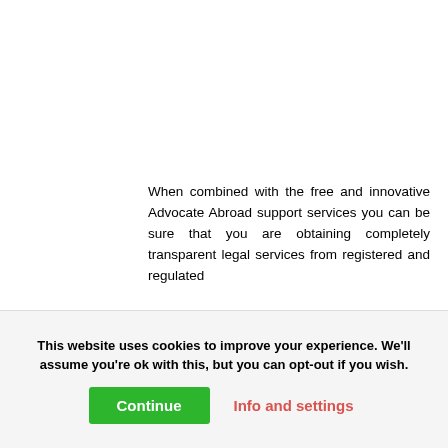When combined with the free and innovative Advocate Abroad support services you can be sure that you are obtaining completely transparent legal services from registered and regulated
This website uses cookies to improve your experience. We'll assume you're ok with this, but you can opt-out if you wish.
Continue
Info and settings